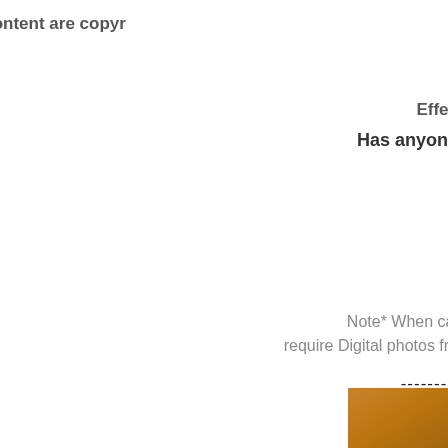All of the pictures and content are copyr
Effec
Has anyone
Note* When cal require Digital photos fro
--------
Click HE
[Figure (photo): Partial view of a brown/golden colored object or surface, cropped at the bottom-right corner of the page]